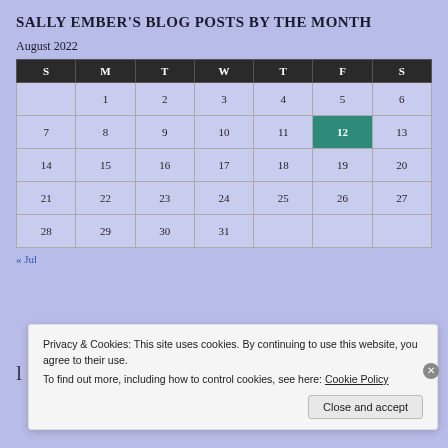SALLY EMBER'S BLOG POSTS BY THE MONTH
August 2022
| S | M | T | W | T | F | S |
| --- | --- | --- | --- | --- | --- | --- |
|  | 1 | 2 | 3 | 4 | 5 | 6 |
| 7 | 8 | 9 | 10 | 11 | 12 | 13 |
| 14 | 15 | 16 | 17 | 18 | 19 | 20 |
| 21 | 22 | 23 | 24 | 25 | 26 | 27 |
| 28 | 29 | 30 | 31 |  |  |  |
« Jul
Privacy & Cookies: This site uses cookies. By continuing to use this website, you agree to their use.
To find out more, including how to control cookies, see here: Cookie Policy
Close and accept